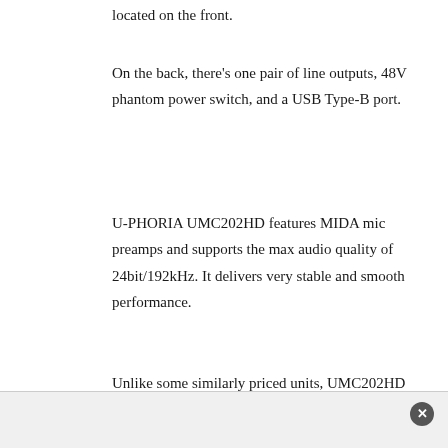located on the front.
On the back, there's one pair of line outputs, 48V phantom power switch, and a USB Type-B port.
U-PHORIA UMC202HD features MIDA mic preamps and supports the max audio quality of 24bit/192kHz. It delivers very stable and smooth performance.
Unlike some similarly priced units, UMC202HD doesn't have MIDI ports. Also